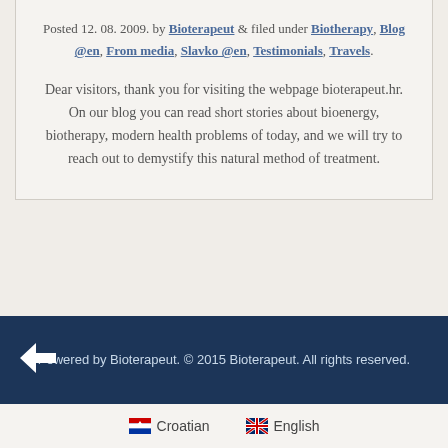Posted 12. 08. 2009. by Bioterapeut & filed under Biotherapy, Blog @en, From media, Slavko @en, Testimonials, Travels.
Dear visitors, thank you for visiting the webpage bioterapeut.hr. On our blog you can read short stories about bioenergy, biotherapy, modern health problems of today, and we will try to reach out to demystify this natural method of treatment.
Powered by Bioterapeut. © 2015 Bioterapeut. All rights reserved.
Croatian  English